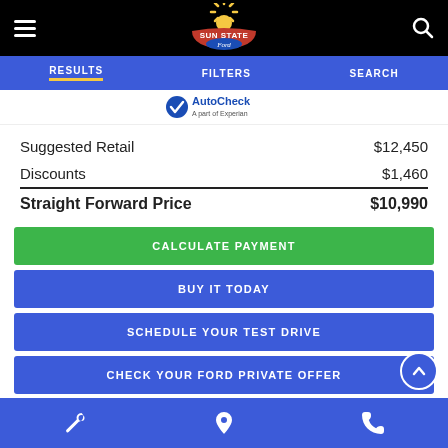Sun State Ford – hamburger menu, logo, search icon
RESULTS  FILTERS  SEARCH
[Figure (logo): AutoCheck – A part of Experian logo]
|  |  |
| --- | --- |
| Suggested Retail | $12,450 |
| Discounts | $1,460 |
| Straight Forward Price | $10,990 |
CALCULATE PAYMENT
BUY IT TODAY
SCHEDULE YOUR TEST DRIVE
CHECK YOUR FORD PRIVATE OFFER
Wrench icon  |  Location pin icon  |  Phone icon